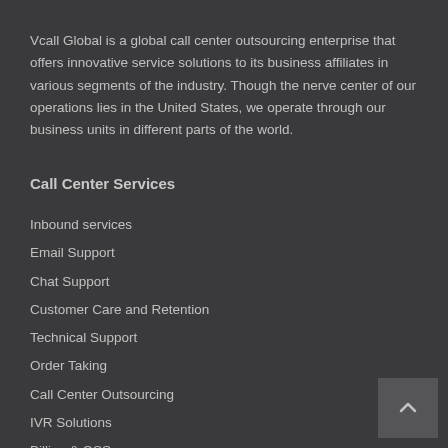Vcall Global is a global call center outsourcing enterprise that offers innovative service solutions to its business affiliates in various segments of the industry. Though the nerve center of our operations lies in the United States, we operate through our business units in different parts of the world.
Call Center Services
Inbound services
Email Support
Chat Support
Customer Care and Retention
Technical Support
Order Taking
Call Center Outsourcing
IVR Solutions
Billing & OSS